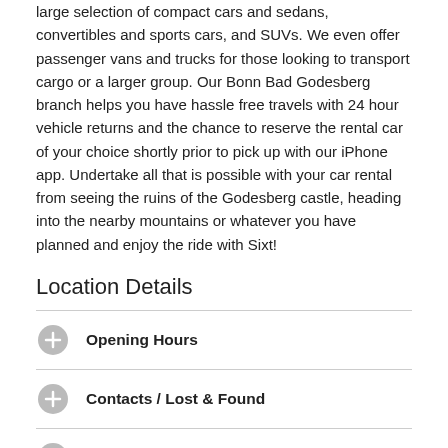large selection of compact cars and sedans, convertibles and sports cars, and SUVs. We even offer passenger vans and trucks for those looking to transport cargo or a larger group. Our Bonn Bad Godesberg branch helps you have hassle free travels with 24 hour vehicle returns and the chance to reserve the rental car of your choice shortly prior to pick up with our iPhone app. Undertake all that is possible with your car rental from seeing the ruins of the Godesberg castle, heading into the nearby mountains or whatever you have planned and enjoy the ride with Sixt!
Location Details
Opening Hours
Contacts / Lost & Found
Location plan - how to find us
Outside open hours - pick up & return